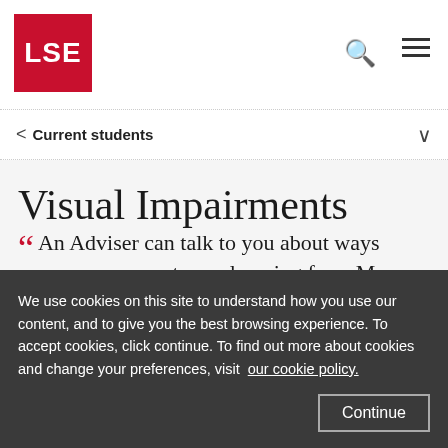LSE
Current students
Visual Impairments
An Adviser can talk to you about ways you can support your learning from Ma...
We use cookies on this site to understand how you use our content, and to give you the best browsing experience. To accept cookies, click continue. To find out more about cookies and change your preferences, visit our cookie policy.